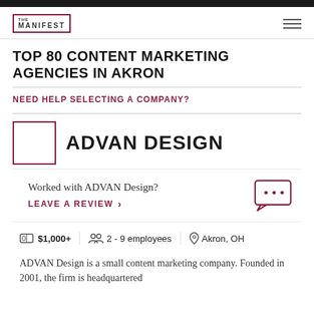THE MANIFEST
TOP 80 CONTENT MARKETING AGENCIES IN AKRON
NEED HELP SELECTING A COMPANY?
ADVAN DESIGN
Worked with ADVAN Design?
LEAVE A REVIEW >
$1,000+   2 - 9 employees   Akron, OH
ADVAN Design is a small content marketing company. Founded in 2001, the firm is headquartered